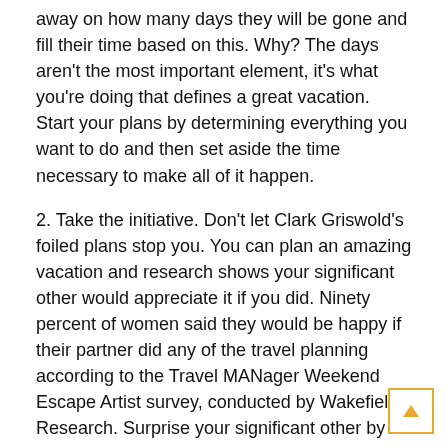away on how many days they will be gone and fill their time based on this. Why? The days aren't the most important element, it's what you're doing that defines a great vacation. Start your plans by determining everything you want to do and then set aside the time necessary to make all of it happen.
2. Take the initiative. Don't let Clark Griswold's foiled plans stop you. You can plan an amazing vacation and research shows your significant other would appreciate it if you did. Ninety percent of women said they would be happy if their partner did any of the travel planning according to the Travel MANager Weekend Escape Artist survey, conducted by Wakefield Research. Surprise your significant other by planning all of the details for a spontaneous holiday trip using the Travel MANager microsite, an online platform that provides men with advice, resources and tools to plan the perfect trip. Travel MANager offers you professional advice from expert travel bloggers, original research and trip itinerary suggestions all in one digital hub so you can plan efficiently.